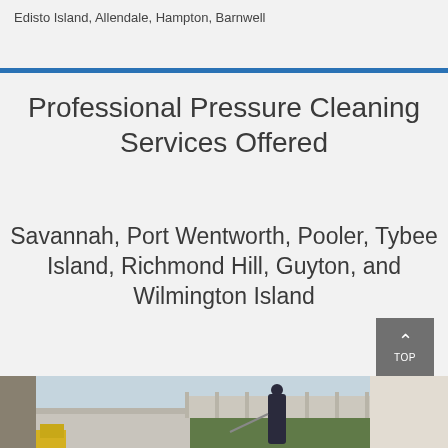Edisto Island, Allendale, Hampton, Barnwell
Professional Pressure Cleaning Services Offered
Savannah, Port Wentworth, Pooler, Tybee Island, Richmond Hill, Guyton, and Wilmington Island
[Figure (photo): Outdoor photo showing a person pressure cleaning a sidewalk/driveway near a fence and house, with green lawn visible]